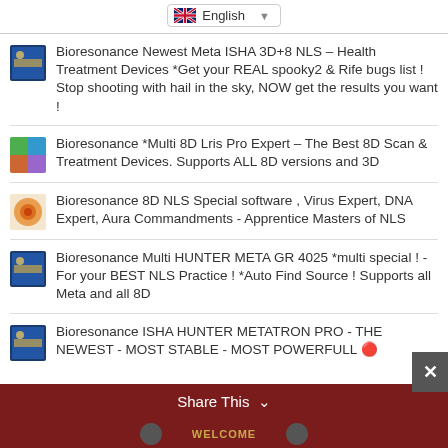English (language selector)
Bioresonance Newest Meta ISHA 3D+8 NLS – Health Treatment Devices *Get your REAL spooky2 & Rife bugs list ! Stop shooting with hail in the sky, NOW get the results you want !
Bioresonance *Multi 8D Lris Pro Expert – The Best 8D Scan & Treatment Devices. Supports ALL 8D versions and 3D
Bioresonance 8D NLS Special software , Virus Expert, DNA Expert, Aura Commandments - Apprentice Masters of NLS
Bioresonance Multi HUNTER META GR 4025 *multi special ! - For your BEST NLS Practice ! *Auto Find Source ! Supports all Meta and all 8D
Bioresonance ISHA HUNTER METATRON PRO - THE NEWEST - MOST STABLE - MOST POWERFULL 🔴
Share This ∨